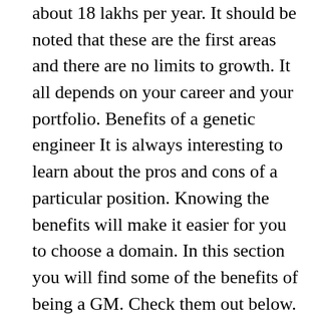about 18 lakhs per year. It should be noted that these are the first areas and there are no limits to growth. It all depends on your career and your portfolio. Benefits of a genetic engineer It is always interesting to learn about the pros and cons of a particular position. Knowing the benefits will make it easier for you to choose a domain. In this section you will find some of the benefits of being a GM. Check them out below.
Helping the community – The first benefit of being a GM is that you are helping the community by working on a project. They have the ability to create a new culture or